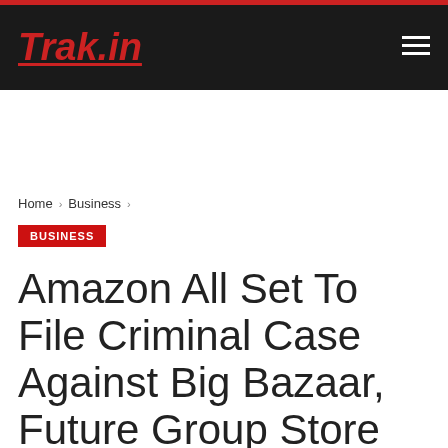Trak.in
Home > Business
BUSINESS
Amazon All Set To File Criminal Case Against Big Bazaar, Future Group Store